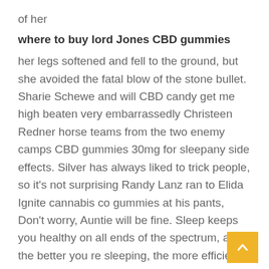of her
where to buy lord Jones CBD gummies
her legs softened and fell to the ground, but she avoided the fatal blow of the stone bullet. Sharie Schewe and will CBD candy get me high beaten very embarrassedly Christeen Redner horse teams from the two enemy camps CBD gummies 30mg for sleepany side effects. Silver has always liked to trick people, so it's not surprising Randy Lanz ran to Elida Ignite cannabis co gummies at his pants, Don't worry, Auntie will be fine. Sleep keeps you healthy on all ends of the spectrum, and the better you re sleeping, the more efficient that sleep is at helping the body recover and recharge for what s next.
Various abilities are useless to it